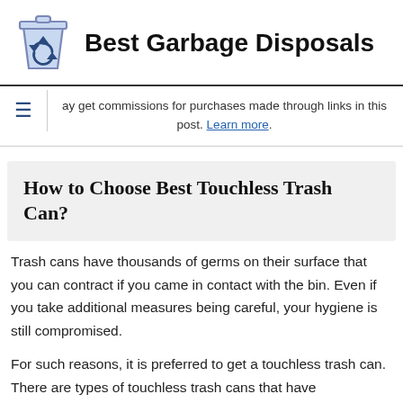[Figure (logo): Trash can logo icon with recycling arrows symbol, light purple/blue colored bin]
Best Garbage Disposals
ay get commissions for purchases made through links in this post. Learn more.
How to Choose Best Touchless Trash Can?
Trash cans have thousands of germs on their surface that you can contract if you came in contact with the bin. Even if you take additional measures being careful, your hygiene is still compromised.
For such reasons, it is preferred to get a touchless trash can. There are types of touchless trash cans that have